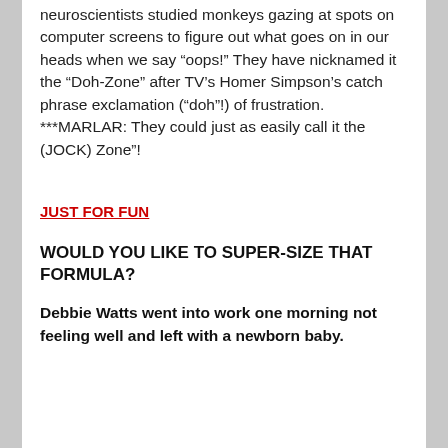neuroscientists studied monkeys gazing at spots on computer screens to figure out what goes on in our heads when we say “oops!” They have nicknamed it the “Doh-Zone” after TV’s Homer Simpson’s catch phrase exclamation (“doh”!) of frustration. ***MARLAR: They could just as easily call it the (JOCK) Zone”!
JUST FOR FUN
WOULD YOU LIKE TO SUPER-SIZE THAT FORMULA?
Debbie Watts went into work one morning not feeling well and left with a newborn baby.